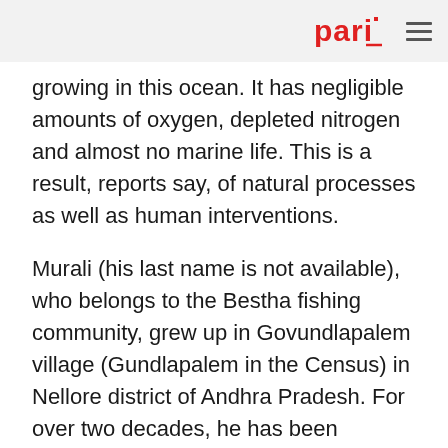pari
growing in this ocean. It has negligible amounts of oxygen, depleted nitrogen and almost no marine life. This is a result, reports say, of natural processes as well as human interventions.
Murali (his last name is not available), who belongs to the Bestha fishing community, grew up in Govundlapalem village (Gundlapalem in the Census) in Nellore district of Andhra Pradesh. For over two decades, he has been travelling to Jaldha village in Ramnagar block of Purba Medinipur district on the